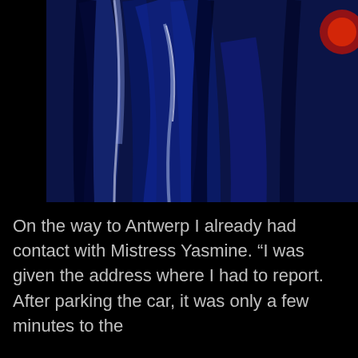[Figure (photo): Screenshot of a video call showing a person with red hair sitting in a white room with a dark metal structure in the background. The left portion of the composite image has a black background below the video frame.]
[Figure (photo): Close-up photo of shiny blue/black latex or PVC material with reflective highlights under blue lighting, with a hint of red light in the upper right corner.]
On the way to Antwerp I already had contact with Mistress Yasmine. “I was given the address where I had to report. After parking the car, it was only a few minutes to the